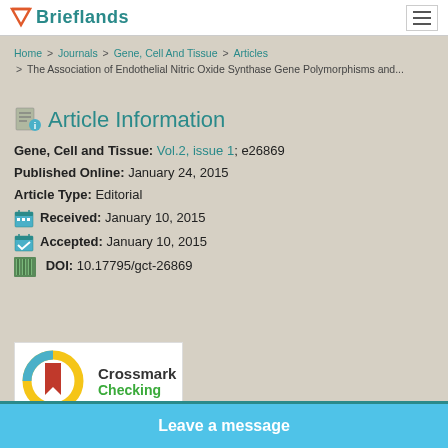Brieflands
Home > Journals > Gene, Cell And Tissue > Articles > The Association of Endothelial Nitric Oxide Synthase Gene Polymorphisms and...
Article Information
Gene, Cell and Tissue: Vol.2, issue 1; e26869
Published Online: January 24, 2015
Article Type: Editorial
Received: January 10, 2015
Accepted: January 10, 2015
DOI: 10.17795/gct-26869
[Figure (logo): Crossmark logo - circular icon with red bookmark and yellow/blue ring]
Crossmark
Checking
Leave a message